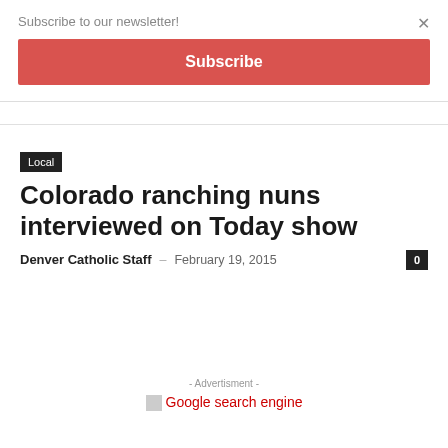Subscribe to our newsletter!
Subscribe
×
Local
Colorado ranching nuns interviewed on Today show
Denver Catholic Staff · February 19, 2015
0
- Advertisment -
[Figure (other): Broken image placeholder with red text reading 'Google search engine']